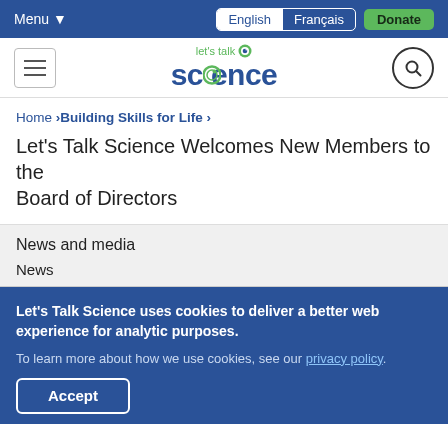Menu  English  Français  Donate
[Figure (logo): Let's Talk Science logo with hamburger menu and search icon]
Home > Building Skills for Life >
Let's Talk Science Welcomes New Members to the Board of Directors
News and media
News
Let's Talk Science uses cookies to deliver a better web experience for analytic purposes. To learn more about how we use cookies, see our privacy policy.
Accept